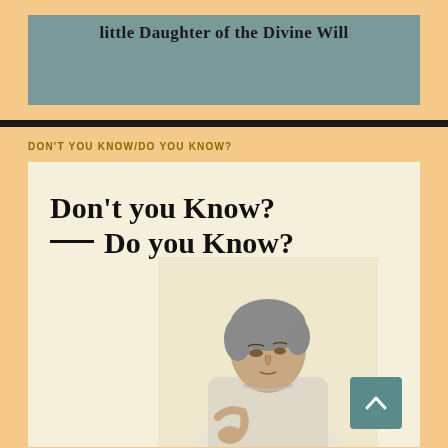little Daughter of the Divine Will
DON'T YOU KNOW/DO YOU KNOW?
[Figure (illustration): Book cover with bold serif text reading 'Don't you Know? — Do you Know?' with a photograph of an elderly woman in white clothing looking downward, on a cream/beige background]
[Figure (other): Teal/dark cyan scroll-to-top button with upward arrow chevron in bottom right corner]